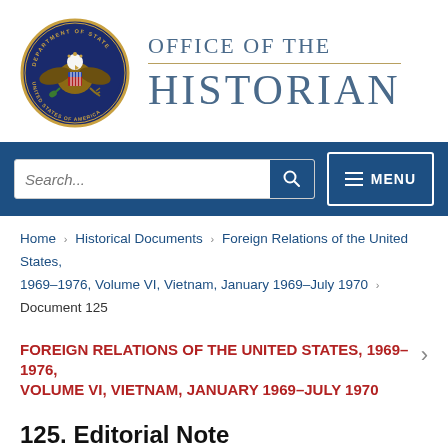[Figure (logo): US Department of State seal and Office of the Historian header logo]
Search... MENU navigation bar
Home › Historical Documents › Foreign Relations of the United States, 1969–1976, Volume VI, Vietnam, January 1969–July 1970 › Document 125
FOREIGN RELATIONS OF THE UNITED STATES, 1969–1976, VOLUME VI, VIETNAM, JANUARY 1969–JULY 1970
125. Editorial Note
On September 27, 1969, Assistant to the President Henry